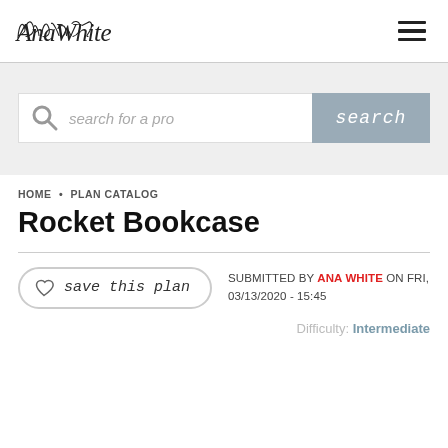AnaWhite
[Figure (screenshot): Search bar with magnifying glass icon, placeholder text 'search for a pro', and a gray 'search' button]
HOME • PLAN CATALOG
Rocket Bookcase
save this plan
SUBMITTED BY ANA WHITE ON FRI, 03/13/2020 - 15:45
Difficulty: Intermediate